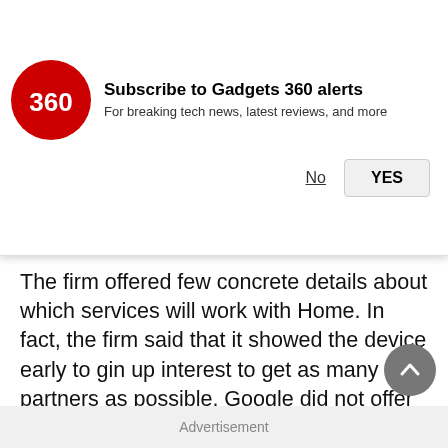[Figure (screenshot): Gadgets 360 subscription notification banner with red circular logo, title 'Subscribe to Gadgets 360 alerts', subtitle 'For breaking tech news, latest reviews, and more', and No/YES buttons]
The firm offered few concrete details about which services will work with Home. In fact, the firm said that it showed the device early to gin up interest to get as many partners as possible. Google did not offer pricing details.
Allo
This new messaging app, called Allo Google's place in an increasingly co puts it up against the likes of Faceb
[Figure (screenshot): Video player overlay showing black background with red play button circle and red close (X) button in top right]
[Figure (screenshot): Grey circular scroll-to-top arrow button]
Advertisement